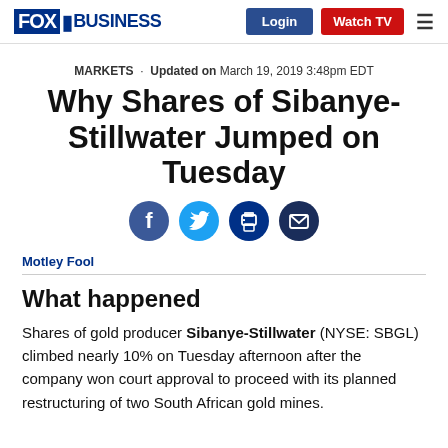FOX BUSINESS | Login | Watch TV
MARKETS · Updated on March 19, 2019 3:48pm EDT
Why Shares of Sibanye-Stillwater Jumped on Tuesday
[Figure (other): Social sharing icons: Facebook, Twitter, Print, Email]
Motley Fool
What happened
Shares of gold producer Sibanye-Stillwater (NYSE: SBGL) climbed nearly 10% on Tuesday afternoon after the company won court approval to proceed with its planned restructuring of two South African gold mines.